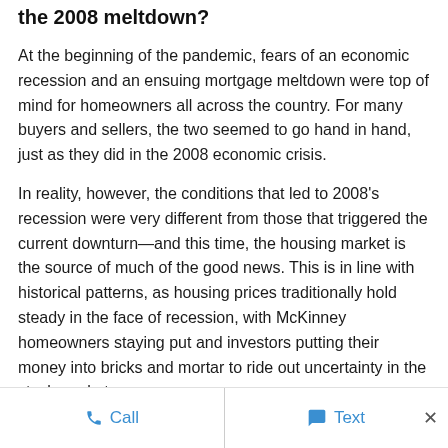the 2008 meltdown?
At the beginning of the pandemic, fears of an economic recession and an ensuing mortgage meltdown were top of mind for homeowners all across the country. For many buyers and sellers, the two seemed to go hand in hand, just as they did in the 2008 economic crisis.
In reality, however, the conditions that led to 2008's recession were very different from those that triggered the current downturn—and this time, the housing market is the source of much of the good news. This is in line with historical patterns, as housing prices traditionally hold steady in the face of recession, with McKinney homeowners staying put and investors putting their money into bricks and mortar to ride out uncertainty in the stock market.
This time around, because of lessons learned in 2008, banks
Call   Text   ×